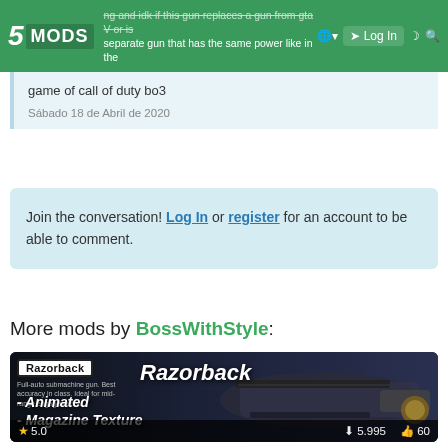5MODS | Log In | [nav icons]
...ng and idk if this gun replaces a gun from gta V or is separate gun that has the same power like in the game of call of duty bo3
Sábado 18 de Abril de 2020
Join the conversation! Log In or register for an account to be able to comment.
More mods by BossWithStyle:
[Figure (screenshot): Mod preview image for 'Razorback' GTA V mod showing a futuristic submachine gun. Text overlays: 'Razorback', 'Full-auto submachine gun. Best accuracy in class. Ideal for mid-range engagements.', '- Animated', '- Magazine Texture'. Footer shows rating 5.0, downloads 5,995, likes 60.]